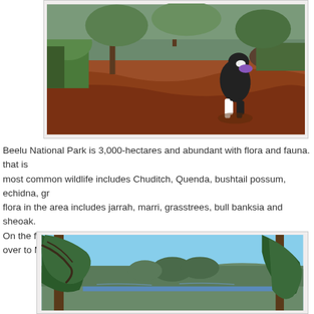[Figure (photo): A black and white dog carrying a purple toy walking on a red dirt trail through bushland, with trees and scrub vegetation on the sides]
Beelu National Park is 3,000-hectares and abundant with flora and fauna. that is most common wildlife includes Chuditch, Quenda, bushtail possum, echidna, gr flora in the area includes jarrah, marri, grasstrees, bull banksia and sheoak. On the first day, Yvonne took me to North Ledge, with stunning views over to Mu
[Figure (photo): A scenic landscape view from North Ledge showing a blue sky, trees (marri/jarrah) in the foreground, and a lake or reservoir in the middle distance surrounded by forested hills]